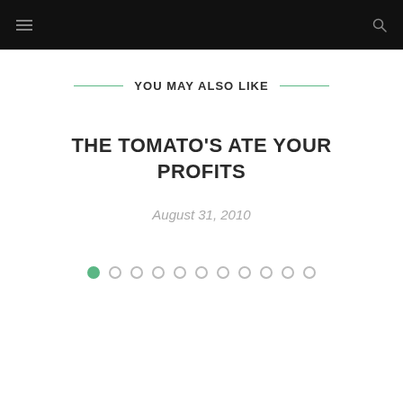Navigation bar with hamburger menu and search icon
YOU MAY ALSO LIKE
THE TOMATO'S ATE YOUR PROFITS
August 31, 2010
[Figure (other): Pagination dots: 1 filled green dot followed by 10 empty circle dots]